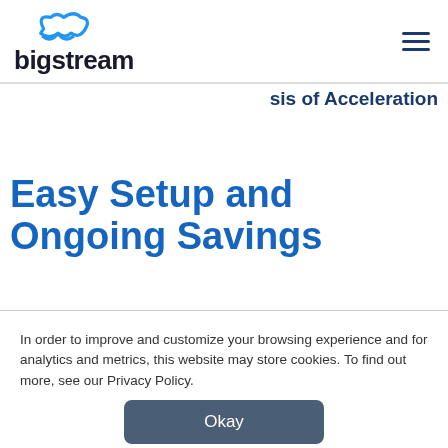bigstream
sis of Acceleration
Easy Setup and Ongoing Savings
In order to improve and customize your browsing experience and for analytics and metrics, this website may store cookies. To find out more, see our Privacy Policy.
Okay